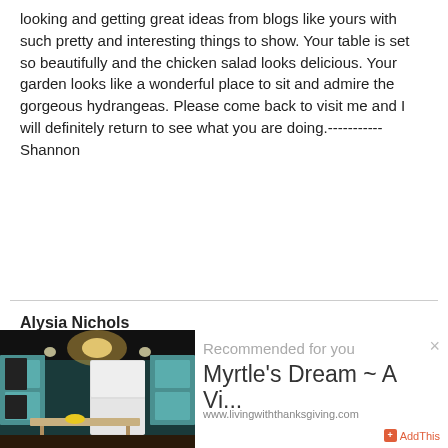looking and getting great ideas from blogs like yours with such pretty and interesting things to show. Your table is set so beautifully and the chicken salad looks delicious. Your garden looks like a wonderful place to sit and admire the gorgeous hydrangeas. Please come back to visit me and I will definitely return to see what you are doing.----------- Shannon
Reply
Alysia Nichols
[Figure (photo): Kitchen interior with teal/turquoise cabinets, chandelier, refrigerator, and dining table]
Recommended for you
Myrtle's Dream ~ A Vi...
www.livingwiththanksgiving.com
AddThis